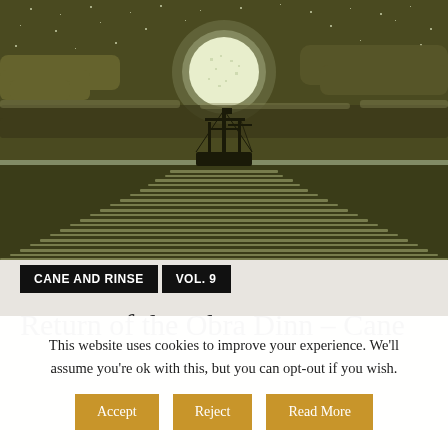[Figure (illustration): Pixel-art style illustration of a sailing ship on moonlit ocean at night. Large full moon partially obscured by clouds in dark olive/khaki sky with scattered white dots (stars). Ship silhouette in center with masts and rigging. Below the ship is a pale reflection path on dark water with horizontal streak patterns. Dark olive-green tones throughout.]
CANE AND RINSE    VOL. 9
Return of the Obra Dinn – Cane
This website uses cookies to improve your experience. We'll assume you're ok with this, but you can opt-out if you wish.
Accept  Reject  Read More